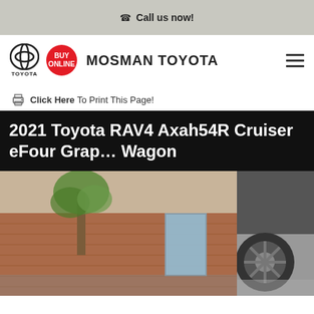Call us now!
[Figure (logo): Toyota logo with BUY ONLINE red circle badge and MOSMAN TOYOTA dealer name, plus hamburger menu icon]
Click Here To Print This Page!
2021 Toyota RAV4 Axah54R Cruiser eFour Grap… Wagon
[Figure (photo): Partial photo of a 2021 Toyota RAV4 in a dark grey/graphite colour parked near a brick building with a tree, with a close-up of a wheel visible on the right side]